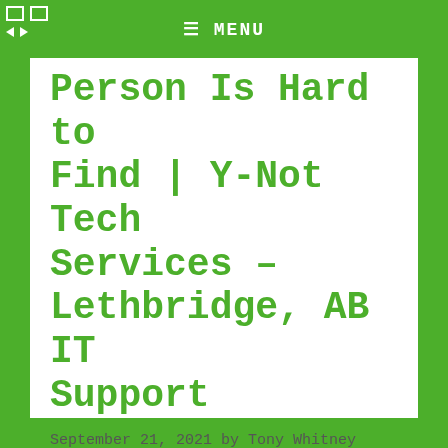☰ MENU
Person Is Hard to Find | Y-Not Tech Services – Lethbridge, AB IT Support
September 21, 2021 by Tony Whitney